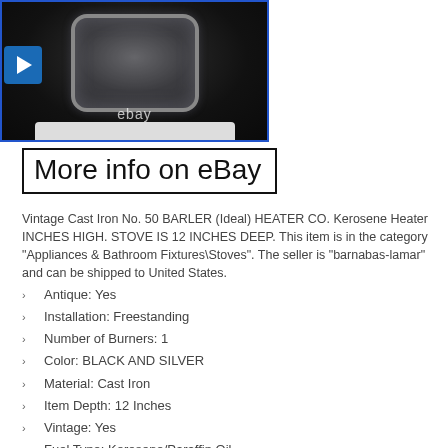[Figure (photo): Close-up photo of a vintage cast iron kerosene heater, showing a dark metallic body with a glass window panel, white base, and eBay watermark. A blue play button overlay appears on the left side.]
More info on eBay
Vintage Cast Iron No. 50 BARLER (Ideal) HEATER CO. Kerosene Heater INCHES HIGH. STOVE IS 12 INCHES DEEP. This item is in the category "Appliances & Bathroom Fixtures\Stoves". The seller is “barnabas-lamar” and can be shipped to United States.
Antique: Yes
Installation: Freestanding
Number of Burners: 1
Color: BLACK AND SILVER
Material: Cast Iron
Item Depth: 12 Inches
Vintage: Yes
Fuel Type: Kerosene/Paraffin Oil
Brand: BARLER